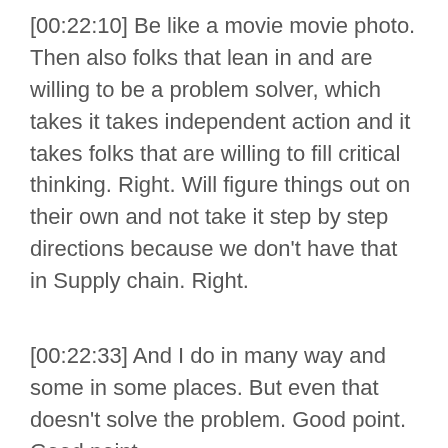[00:22:10] Be like a movie movie photo. Then also folks that lean in and are willing to be a problem solver, which takes it takes independent action and it takes folks that are willing to fill critical thinking. Right. Will figure things out on their own and not take it step by step directions because we don't have that in Supply chain. Right.
[00:22:33] And I do in many way and some in some places. But even that doesn't solve the problem. Good point. Good point.